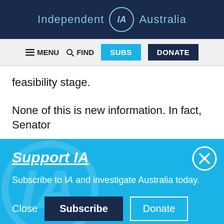Independent IA Australia
[Figure (screenshot): Navigation bar with MENU, FIND, SUBS, DONATE buttons]
feasibility stage.
None of this is new information. In fact, Senator
[Figure (infographic): Support IA popup overlay with blue background, close button, subscribe and donate buttons. Text: Support IA. Subscribe to IA and investigate Australia today.]
Social media icons: Twitter, Facebook, LinkedIn, Flipboard, Link, Plus